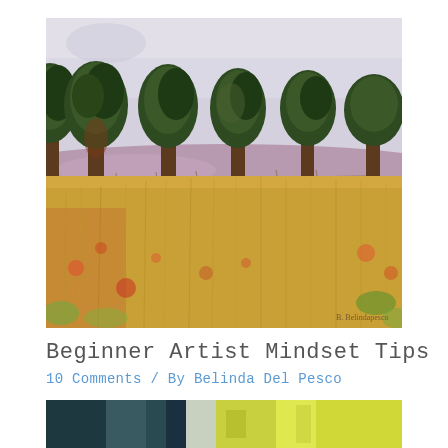[Figure (illustration): Watercolor landscape painting showing a row of dark green trees along the horizon above a golden wheat field, with a soft lavender/grey sky and colorful wildflowers in the foreground. Artist signature visible at bottom right.]
Beginner Artist Mindset Tips
10 Comments / By Belinda Del Pesco
[Figure (illustration): Partial view of another watercolor painting visible at the bottom of the page, showing dark teal/navy and yellow-green abstract forms.]